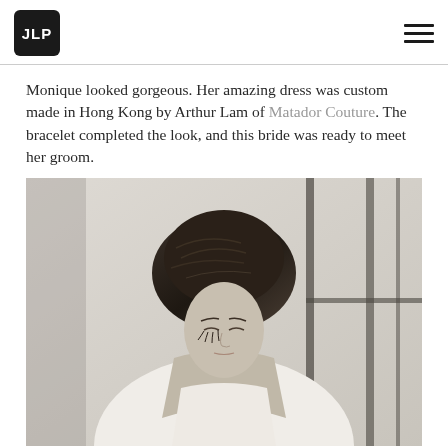JLP
Monique looked gorgeous. Her amazing dress was custom made in Hong Kong by Arthur Lam of Matador Couture. The bracelet completed the look, and this bride was ready to meet her groom.
[Figure (photo): A bride with dark hair in an updo, wearing a white dress with a low back, looking downward. The background shows windows with dark frames. The image is high-key and elegant in a muted, faded color palette.]